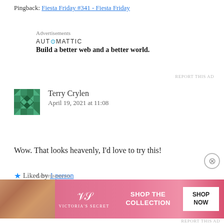Pingback: Fiesta Friday #341 - Fiesta Friday
Advertisements
[Figure (logo): Automattic logo with tagline: Build a better web and a better world.]
REPORT THIS AD
[Figure (illustration): Avatar/gravatar icon for Terry Crylen - green geometric quilt-pattern square]
Terry Crylen
April 19, 2021 at 11:08
Wow. That looks heavenly, I'd love to try this!
Liked by 1 person
Reply ↓
Advertisements
[Figure (screenshot): Victoria's Secret advertisement banner: model on left, VS logo in center, SHOP THE COLLECTION text, SHOP NOW white button on right.]